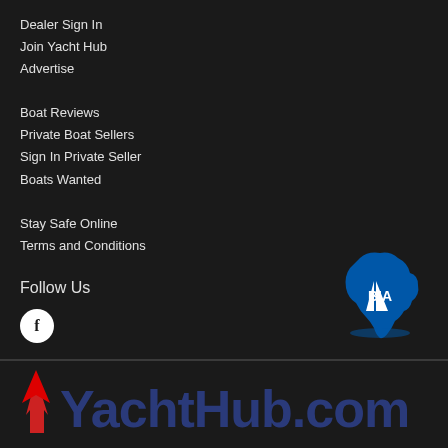Dealer Sign In
Join Yacht Hub
Advertise
Boat Reviews
Private Boat Sellers
Sign In Private Seller
Boats Wanted
Stay Safe Online
Terms and Conditions
Follow Us
[Figure (logo): BIA logo - blue Australia map silhouette with white sail and BIA text]
[Figure (logo): YachtHub.com logo with red flame/anchor Y symbol and dark blue text]